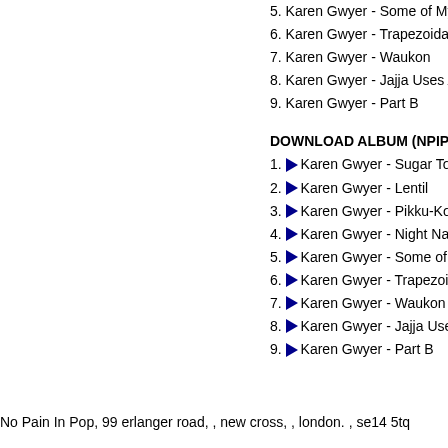5. Karen Gwyer - Some of My
6. Karen Gwyer - Trapezoidal V
7. Karen Gwyer - Waukon
8. Karen Gwyer - Jajja Uses A
9. Karen Gwyer - Part B
DOWNLOAD ALBUM (NPIP032)
1. ▶ Karen Gwyer - Sugar Tots
2. ▶ Karen Gwyer - Lentil
3. ▶ Karen Gwyer - Pikku-Kok
4. ▶ Karen Gwyer - Night Nails
5. ▶ Karen Gwyer - Some of M
6. ▶ Karen Gwyer - Trapezoid
7. ▶ Karen Gwyer - Waukon
8. ▶ Karen Gwyer - Jajja Uses
9. ▶ Karen Gwyer - Part B
No Pain In Pop, 99 erlanger road, , new cross, , london. , se14 5tq